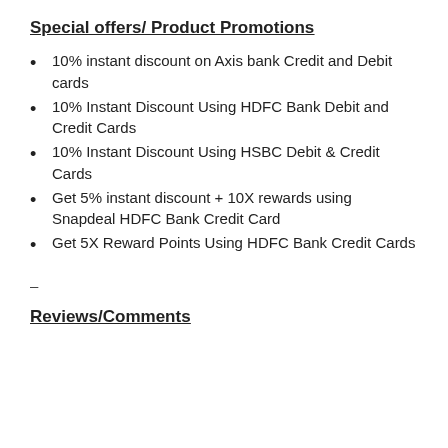Special offers/ Product Promotions
10% instant discount on Axis bank Credit and Debit cards
10% Instant Discount Using HDFC Bank Debit and Credit Cards
10% Instant Discount Using HSBC Debit & Credit Cards
Get 5% instant discount + 10X rewards using Snapdeal HDFC Bank Credit Card
Get 5X Reward Points Using HDFC Bank Credit Cards
–
Reviews/Comments